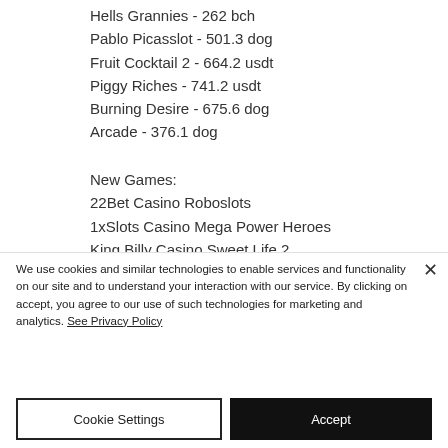Hells Grannies - 262 bch
Pablo Picasslot - 501.3 dog
Fruit Cocktail 2 - 664.2 usdt
Piggy Riches - 741.2 usdt
Burning Desire - 675.6 dog
Arcade - 376.1 dog
New Games:
22Bet Casino Roboslots
1xSlots Casino Mega Power Heroes
King Billy Casino Sweet Life 2
BitcoinCasino.us Winter Wonders
We use cookies and similar technologies to enable services and functionality on our site and to understand your interaction with our service. By clicking on accept, you agree to our use of such technologies for marketing and analytics. See Privacy Policy